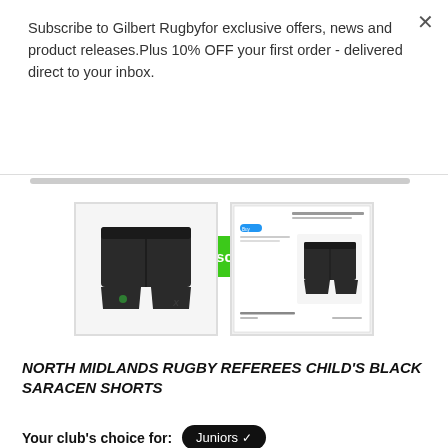Subscribe to Gilbert Rugbyfor exclusive offers, news and product releases.Plus 10% OFF your first order - delivered direct to your inbox.
Subscribe
[Figure (photo): Black rugby shorts (Saracen style) on white background, left product image]
[Figure (screenshot): Screenshot of product page showing the same black Saracen shorts with small blue badge and product details]
NORTH MIDLANDS RUGBY REFEREES CHILD'S BLACK SARACEN SHORTS
Your club's choice for: Juniors ✔